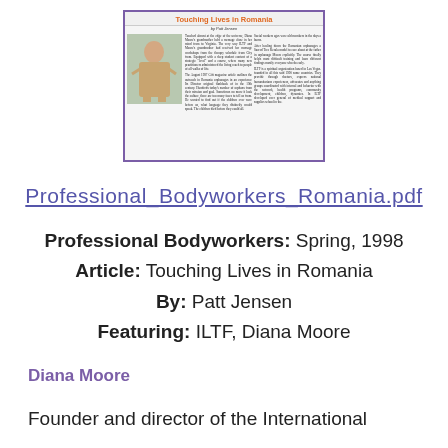[Figure (illustration): Thumbnail image of a magazine article titled 'Touching Lives in Romania' with orange heading, photo of a child, and two columns of text.]
Professional_Bodyworkers_Romania.pdf
Professional Bodyworkers: Spring, 1998
Article: Touching Lives in Romania
By: Patt Jensen
Featuring: ILTF, Diana Moore
Diana Moore
Founder and director of the International